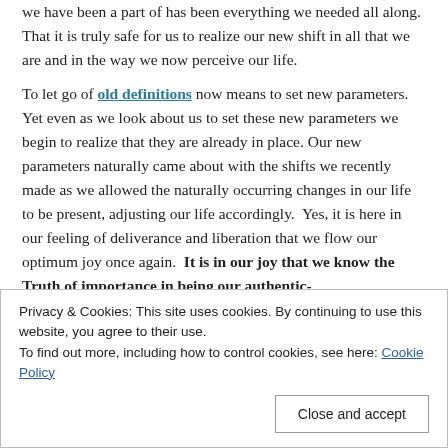we have been a part of has been everything we needed all along. That it is truly safe for us to realize our new shift in all that we are and in the way we now perceive our life.

To let go of old definitions now means to set new parameters. Yet even as we look about us to set these new parameters we begin to realize that they are already in place. Our new parameters naturally came about with the shifts we recently made as we allowed the naturally occurring changes in our life to be present, adjusting our life accordingly. Yes, it is here in our feeling of deliverance and liberation that we flow our optimum joy once again. It is in our joy that we know the Truth of importance in being our authentic-
Privacy & Cookies: This site uses cookies. By continuing to use this website, you agree to their use.
To find out more, including how to control cookies, see here: Cookie Policy